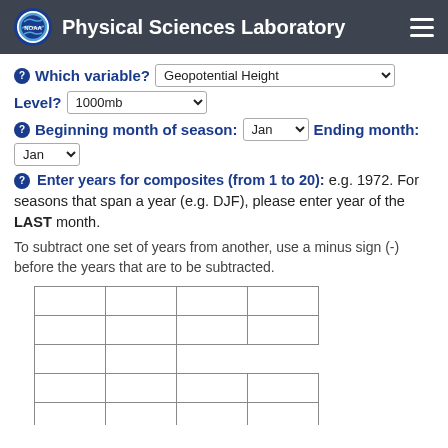Physical Sciences Laboratory
Which variable? [Geopotential Height dropdown] Level? [1000mb dropdown]
Beginning month of season: [Jan dropdown] Ending month: [Jan dropdown]
Enter years for composites (from 1 to 20): e.g. 1972. For seasons that span a year (e.g. DJF), please enter year of the LAST month.
To subtract one set of years from another, use a minus sign (-) before the years that are to be subtracted.
[Figure (other): A grid of empty year-input text boxes arranged in 5 rows and 4 columns (with partial last row visible), used for entering years for composites.]